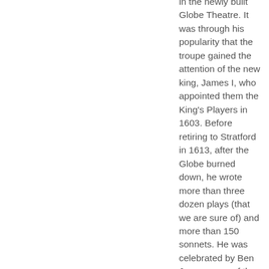in the newly built Globe Theatre. It was through his popularity that the troupe gained the attention of the new king, James I, who appointed them the King's Players in 1603. Before retiring to Stratford in 1613, after the Globe burned down, he wrote more than three dozen plays (that we are sure of) and more than 150 sonnets. He was celebrated by Ben Jonson, one of the leading playwrights of the day, as a writer who would be "not for an age, but for all time," a prediction that has proved to be true. Today, Shakespeare towers over all other English